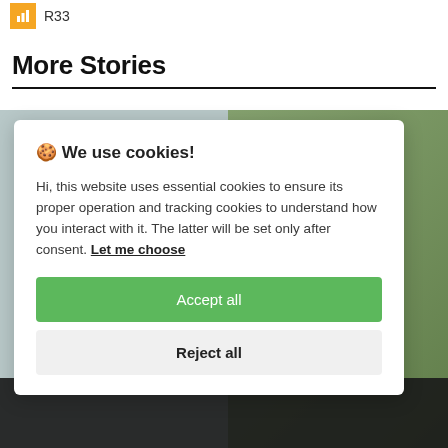[Figure (logo): Orange square icon with bar chart symbol and text R33]
More Stories
[Figure (photo): Background photo partially visible behind cookie consent modal, showing greenery and dark elements at bottom]
🍪 We use cookies!
Hi, this website uses essential cookies to ensure its proper operation and tracking cookies to understand how you interact with it. The latter will be set only after consent. Let me choose
Accept all
Reject all